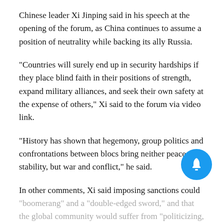Chinese leader Xi Jinping said in his speech at the opening of the forum, as China continues to assume a position of neutrality while backing its ally Russia.
"Countries will surely end up in security hardships if they place blind faith in their positions of strength, expand military alliances, and seek their own safety at the expense of others," Xi said to the forum via video link.
"History has shown that hegemony, group politics and confrontations between blocs bring neither peace nor stability, but war and conflict," he said.
In other comments, Xi said imposing sanctions could "boomerang" and a "double-edged sword," and that the global community would suffer from "politicizing, mechanizing and weaponizing" global economic trends and financial flows.